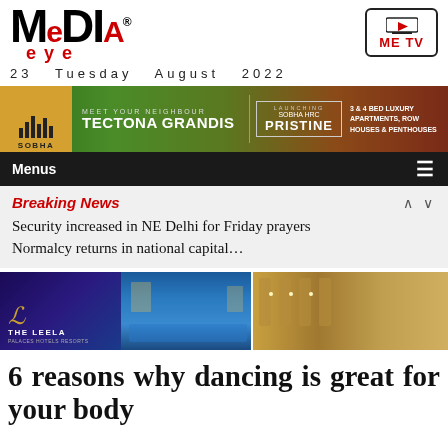[Figure (logo): Media Eye logo with red 'eye' text and registered trademark symbol]
[Figure (logo): ME TV logo in red with play button icon in a rounded rectangle box]
23  Tuesday  August  2022
[Figure (infographic): Sobha advertisement banner: MEET YOUR NEIGHBOUR TECTONA GRANDIS | LAUNCHING SOBHA HRC PRISTINE | 3 & 4 BED LUXURY APARTMENTS, ROW HOUSES & PENTHOUSES]
Menus
Breaking News
Security increased in NE Delhi for Friday prayers Normalcy returns in national capital…
[Figure (photo): The Leela hotel advertisement banner showing luxury hotel pool and dining area with blue and warm amber tones]
6 reasons why dancing is great for your body